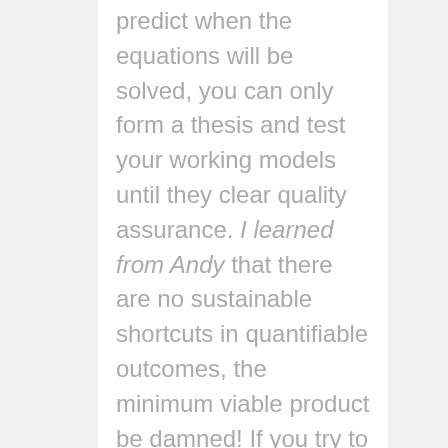predict when the equations will be solved, you can only form a thesis and test your working models until they clear quality assurance. I learned from Andy that there are no sustainable shortcuts in quantifiable outcomes, the minimum viable product be damned! If you try to cheap your way through a poorly constructed algorithm, science will have its way with you and the result won't be a proud moment.
4. Constructive Confrontation Works – A